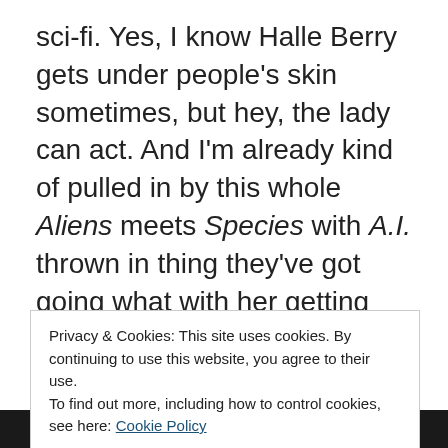sci-fi. Yes, I know Halle Berry gets under people's skin sometimes, but hey, the lady can act. And I'm already kind of pulled in by this whole Aliens meets Species with A.I. thrown in thing they've got going what with her getting pregnant in outer space and then coming home to an android kid. Is she going to keep her half-alien baby? Will she reject her android son? Will her husband be like Joseph was with Mary and learn to accept this immaculate-not immaculate conception? Will will the aliens arrive? I've already got so many questions that I hope this show won't bore me into not caring for the
Privacy & Cookies: This site uses cookies. By continuing to use this website, you agree to their use.
To find out more, including how to control cookies, see here: Cookie Policy
Close and accept
[Figure (photo): Dark bottom strip, partial image of people]